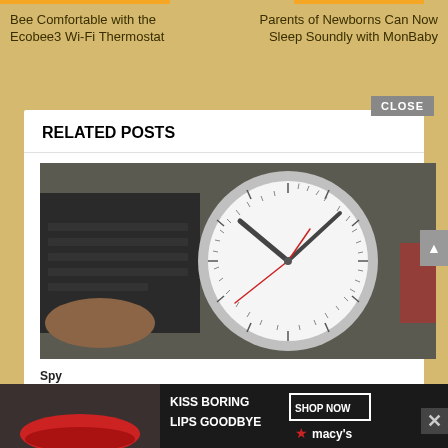Bee Comfortable with the Ecobee3 Wi-Fi Thermostat
Parents of Newborns Can Now Sleep Soundly with MonBaby
RELATED POSTS
[Figure (photo): A round analog wall clock with a white face and silver rim, showing approximately 10:10 time, placed on a desk with a laptop keyboard visible in the background.]
Spy... Clo...
[Figure (infographic): Advertisement banner for Macy's with text 'KISS BORING LIPS GOODBYE' and a woman with red lips, plus a 'SHOP NOW' button and Macy's star logo.]